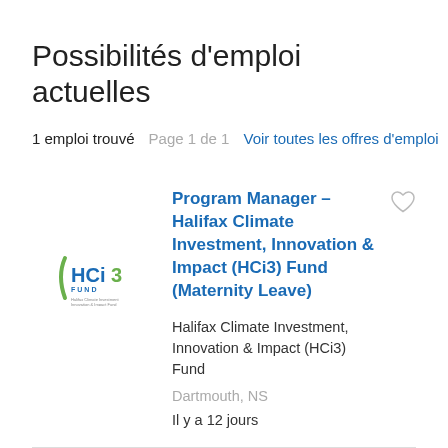Possibilités d'emploi actuelles
1 emploi trouvé   Page 1 de 1   Voir toutes les offres d'emploi
[Figure (logo): HCi3 Fund logo — Halifax Climate Investment Innovation & Impact Fund]
Program Manager – Halifax Climate Investment, Innovation & Impact (HCi3) Fund (Maternity Leave)
Halifax Climate Investment, Innovation & Impact (HCi3) Fund
Dartmouth, NS
Il y a 12 jours